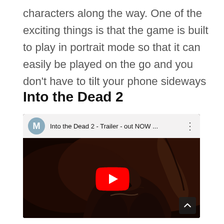characters along the way. One of the exciting things is that the game is built to play in portrait mode so that it can easily be played on the go and you don't have to tilt your phone sideways
Into the Dead 2
[Figure (screenshot): YouTube embedded video player showing 'Into the Dead 2 - Trailer - out NOW ...' with a zombie creature thumbnail, YouTube play button in center, and a scroll-up arrow button in the bottom right corner.]